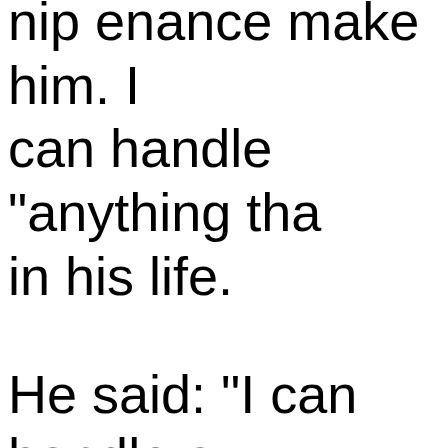nip enance make him. I can handle "anything tha in his life. He said: "I can handle a lose. I can handle any goes wrong in my life. I anything in my marria handle anything that this offer me.